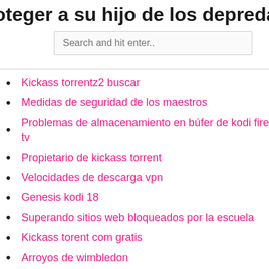oteger a su hijo de los depredadores
Kickass torrentz2 buscar
Medidas de seguridad de los maestros
Problemas de almacenamiento en búfer de kodi fire tv
Propietario de kickass torrent
Velocidades de descarga vpn
Genesis kodi 18
Superando sitios web bloqueados por la escuela
Kickass torent com gratis
Arroyos de wimbledon
Cambiar entre perfiles de netflix en roku